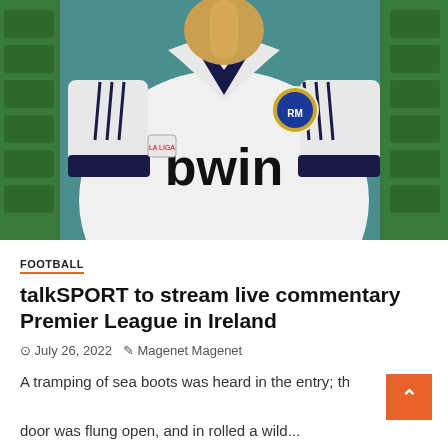[Figure (photo): Person wearing a white Real Madrid bwin jersey with adidas logo and Real Madrid badge, sitting in front of green stadium seats, blonde ponytail visible]
FOOTBALL
talkSPORT to stream live commentary Premier League in Ireland
July 26, 2022   Magenet Magenet
A tramping of sea boots was heard in the entry; the door was flung open, and in rolled a wild...